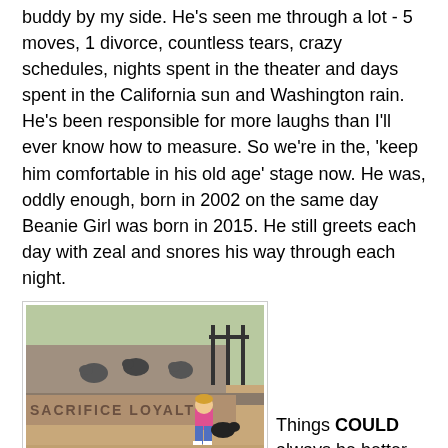buddy by my side. He's seen me through a lot - 5 moves, 1 divorce, countless tears, crazy schedules, nights spent in the theater and days spent in the California sun and Washington rain. He's been responsible for more laughs than I'll ever know how to measure. So we're in the, 'keep him comfortable in his old age' stage now. He was, oddly enough, born in 2002 on the same day Beanie Girl was born in 2015. He still greets each day with zeal and snores his way through each night.
[Figure (photo): A child in a pink hoodie and blue jeans stands at a stone monument engraved with 'SACRIFICE LOYALTY', with pigeons/birds on the stone surface and a gate visible in the background.]
Things COULD always be better.
But things aren't bad.